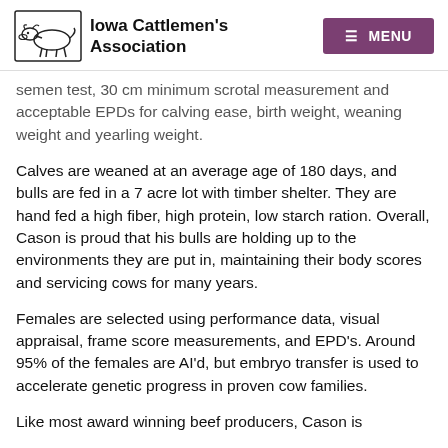Iowa Cattlemen's Association | MENU
semen test, 30 cm minimum scrotal measurement and acceptable EPDs for calving ease, birth weight, weaning weight and yearling weight.
Calves are weaned at an average age of 180 days, and bulls are fed in a 7 acre lot with timber shelter. They are hand fed a high fiber, high protein, low starch ration. Overall, Cason is proud that his bulls are holding up to the environments they are put in, maintaining their body scores and servicing cows for many years.
Females are selected using performance data, visual appraisal, frame score measurements, and EPD's. Around 95% of the females are AI'd, but embryo transfer is used to accelerate genetic progress in proven cow families.
Like most award winning beef producers, Cason is